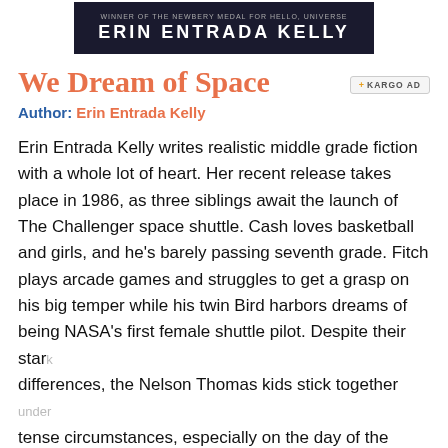[Figure (illustration): Book cover banner showing author name 'ERIN ENTRADA KELLY' in white bold uppercase text on a dark navy/black background, with smaller subtitle text above reading 'WINNER OF THE NEWBERY MEDAL FOR HELLO, UNIVERSE']
We Dream of Space
Author: Erin Entrada Kelly
Erin Entrada Kelly writes realistic middle grade fiction with a whole lot of heart. Her recent release takes place in 1986, as three siblings await the launch of The Challenger space shuttle. Cash loves basketball and girls, and he's barely passing seventh grade. Fitch plays arcade games and struggles to get a grasp on his big temper while his twin Bird harbors dreams of being NASA's first female shuttle pilot. Despite their stark differences, the Nelson Thomas kids stick together under tense circumstances, especially on the day of the shuttle launch. Character-driven and down-to-earth, this novel explores difficult family dynamics and the important impact of a great teacher. More info